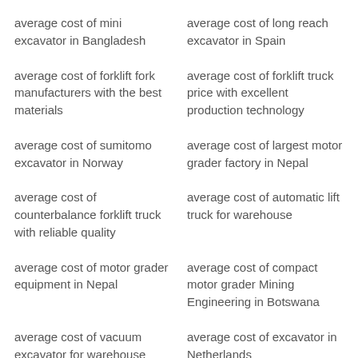average cost of mini excavator in Bangladesh
average cost of long reach excavator in Spain
average cost of forklift fork manufacturers with the best materials
average cost of forklift truck price with excellent production technology
average cost of sumitomo excavator in Norway
average cost of largest motor grader factory in Nepal
average cost of counterbalance forklift truck with reliable quality
average cost of automatic lift truck for warehouse
average cost of motor grader equipment in Nepal
average cost of compact motor grader Mining Engineering in Botswana
average cost of vacuum excavator for warehouse
average cost of excavator in Netherlands
average cost of mining excavator in Russia
average cost of mini road grader for Port freight in